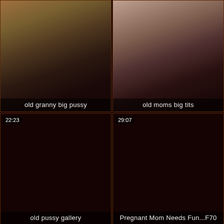[Figure (photo): Thumbnail grid of 6 video thumbnails with labels. Top-left: 'old granny big pussy'. Top-right: 'old moms big tits'. Middle-left: 'old pussy gallery' with duration 22:23. Middle-right: 'Pregnant Mom Needs Fun...F70' with duration 29:07. Bottom-left: 'forgive our nasty grandma' with duration 16:50. Bottom-right: '18 yearsold gf rough sex' with duration 24:34.]